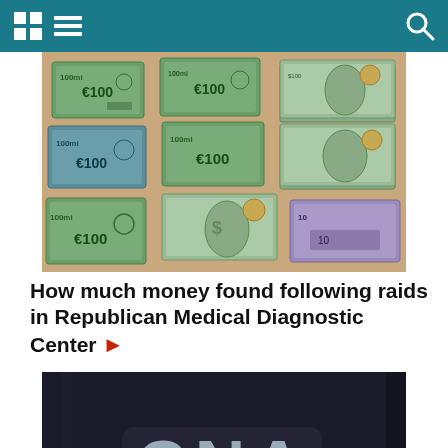[Figure (photo): Photo of various currency bills including Euros (€100) and US Dollars ($100) spread on a table]
How much money found following raids in Republican Medical Diagnostic Center ▶
[Figure (photo): Photo of a person wearing a dark jacket with 'CNA' lettering on the back]